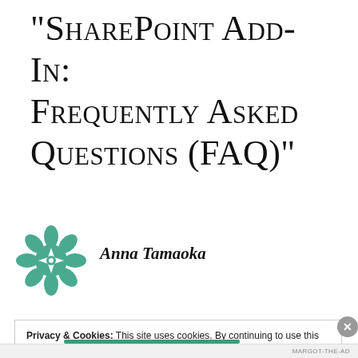“SharePoint Add-In: Frequently Asked Questions (FAQ)”
Anna Tamaoka
JUNE 22, 2018 AT 4:11 PM
Privacy & Cookies: This site uses cookies. By continuing to use this website, you agree to their use.
To find out more, including how to control cookies, see here: Cookie Policy
Close and accept